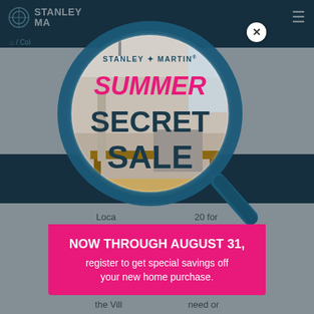STANLEY MARTIN
/ Col...
com... this beauti... choose from si... ns to fit
Loca... 20 for commu... I-77 to Fort J... living while... one of the b... major shoppi... 1) and the Vill... need or could... eation and e... Enjoy
[Figure (illustration): Stanley Martin Summer Secret Sale promotional modal popup with magnifying glass graphic containing interior home photo. Pink banner at bottom reads: NOW THROUGH AUGUST 31, register to get special savings off your new home purchase.]
STANLEY ✦ MARTIN®
SUMMER SECRET SALE
NOW THROUGH AUGUST 31, register to get special savings off your new home purchase.